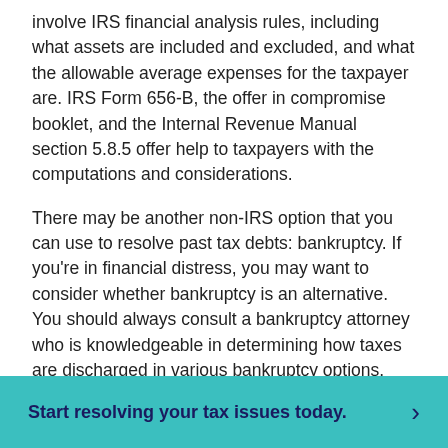involve IRS financial analysis rules, including what assets are included and excluded, and what the allowable average expenses for the taxpayer are. IRS Form 656-B, the offer in compromise booklet, and the Internal Revenue Manual section 5.8.5 offer help to taxpayers with the computations and considerations.
There may be another non-IRS option that you can use to resolve past tax debts: bankruptcy. If you're in financial distress, you may want to consider whether bankruptcy is an alternative. You should always consult a bankruptcy attorney who is knowledgeable in determining how taxes are discharged in various bankruptcy options.
Do you have additional questions?
Start resolving your tax issues today.